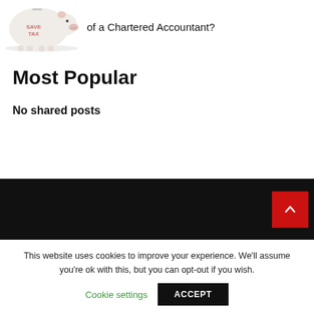[Figure (illustration): Piggy bank illustration with 'SAVE TAX' text on it, shown in white/pink tones]
of a Chartered Accountant?
Most Popular
No shared posts
[Figure (other): Dark footer bar with red scroll-to-top button showing upward chevron arrow]
This website uses cookies to improve your experience. We'll assume you're ok with this, but you can opt-out if you wish.
Cookie settings
ACCEPT